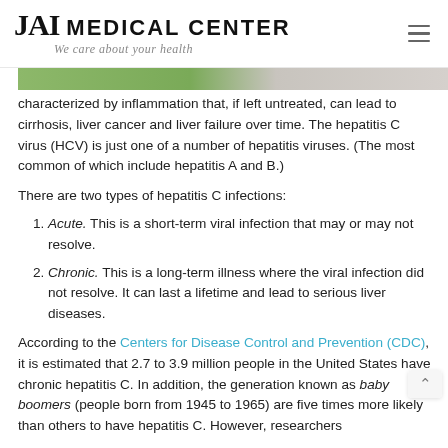JAI MEDICAL CENTER — We care about your health
[Figure (photo): Partial photo strip showing a blurred outdoor/nature image (green foliage on left, lighter tones on right), cropped at top of content area.]
characterized by inflammation that, if left untreated, can lead to cirrhosis, liver cancer and liver failure over time. The hepatitis C virus (HCV) is just one of a number of hepatitis viruses. (The most common of which include hepatitis A and B.)
There are two types of hepatitis C infections:
Acute. This is a short-term viral infection that may or may not resolve.
Chronic. This is a long-term illness where the viral infection did not resolve. It can last a lifetime and lead to serious liver diseases.
According to the Centers for Disease Control and Prevention (CDC), it is estimated that 2.7 to 3.9 million people in the United States have chronic hepatitis C. In addition, the generation known as baby boomers (people born from 1945 to 1965) are five times more likely than others to have hepatitis C. However, researchers